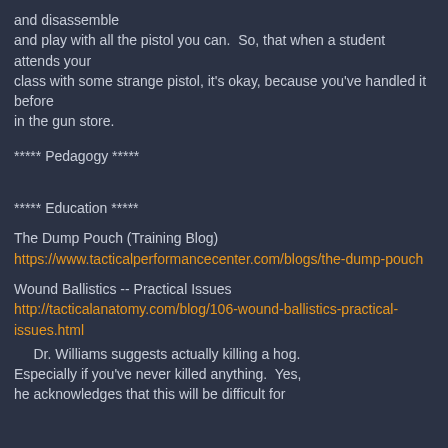and disassemble
and play with all the pistol you can.  So, that when a student attends your
class with some strange pistol, it's okay, because you've handled it before
in the gun store.
***** Pedagogy *****
***** Education *****
The Dump Pouch (Training Blog)
https://www.tacticalperformancecenter.com/blogs/the-dump-pouch
Wound Ballistics -- Practical Issues
http://tacticalanatomy.com/blog/106-wound-ballistics-practical-issues.html
Dr. Williams suggests actually killing a hog.
Especially if you've never killed anything.  Yes,
he acknowledges that this will be difficult for